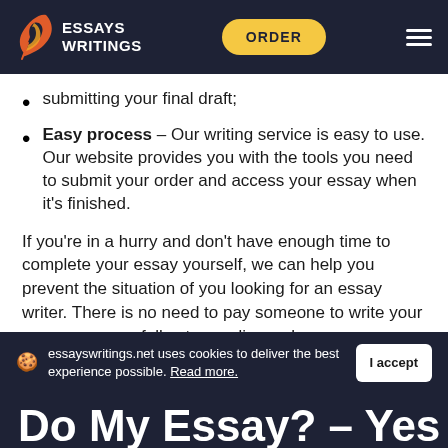Essays Writings | ORDER
submitting your final draft;
Easy process – Our writing service is easy to use. Our website provides you with the tools you need to submit your order and access your essay when it's finished.
If you're in a hurry and don't have enough time to complete your essay yourself, we can help you prevent the situation of you looking for an essay writer. There is no need to pay someone to write your essay – we are fully at your disposal.
essayswritings.net uses cookies to deliver the best experience possible. Read more. | I accept
Do My Essay? – Yes